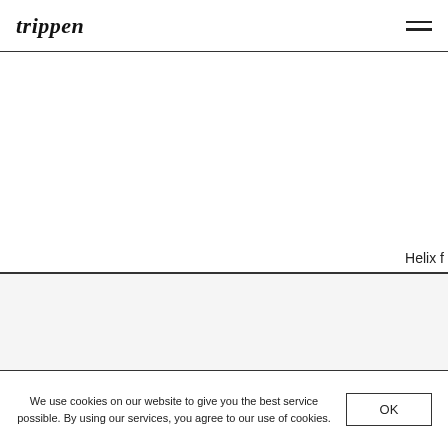trippen
[Figure (other): White blank area — product image area (mostly empty/white)]
Helix f
[Figure (other): Second white/light gray image area below divider]
We use cookies on our website to give you the best service possible. By using our services, you agree to our use of cookies.